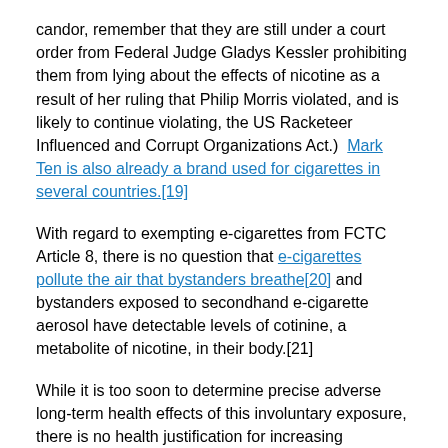candor, remember that they are still under a court order from Federal Judge Gladys Kessler prohibiting them from lying about the effects of nicotine as a result of her ruling that Philip Morris violated, and is likely to continue violating, the US Racketeer Influenced and Corrupt Organizations Act.)  Mark Ten is also already a brand used for cigarettes in several countries.[19]
With regard to exempting e-cigarettes from FCTC Article 8, there is no question that e-cigarettes pollute the air that bystanders breathe[20] and bystanders exposed to secondhand e-cigarette aerosol have detectable levels of cotinine, a metabolite of nicotine, in their body.[21]
While it is too soon to determine precise adverse long-term health effects of this involuntary exposure, there is no health justification for increasing involuntary exposure to ultrafine particles, nicotine, and other toxins.  (This is another example of how the Bates letter turns the precautionary principle on its head.)